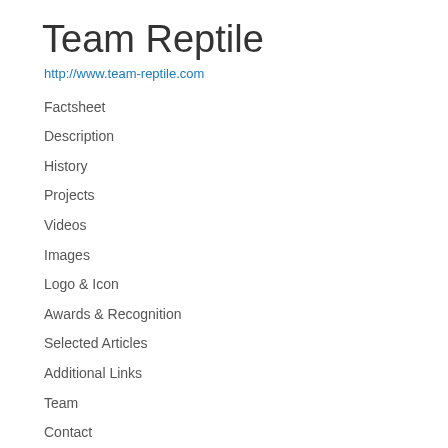Team Reptile
http://www.team-reptile.com
Factsheet
Description
History
Projects
Videos
Images
Logo & Icon
Awards & Recognition
Selected Articles
Additional Links
Team
Contact